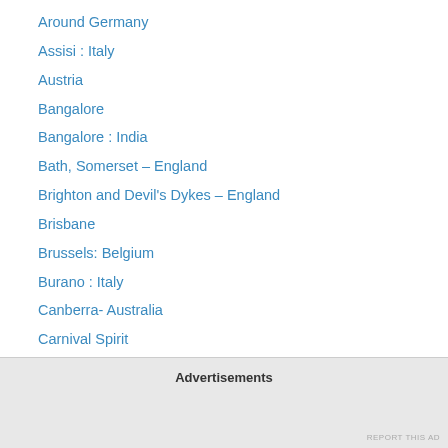Around Germany
Assisi : Italy
Austria
Bangalore
Bangalore : India
Bath, Somerset – England
Brighton and Devil's Dykes – England
Brisbane
Brussels: Belgium
Burano : Italy
Canberra- Australia
Carnival Spirit
Coffs Harbour
Darjeeling : India
Dubai – UAE
Eiffel Tower: Paris
Advertisements